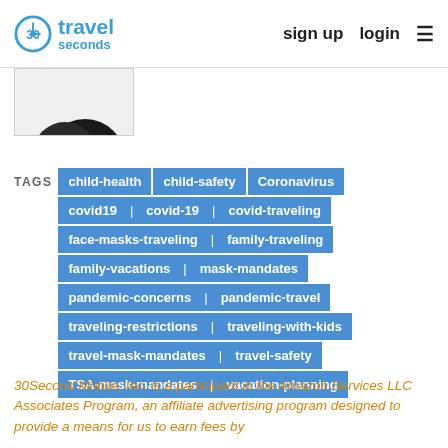30 seconds travel | sign up | login
[Figure (photo): Partial image thumbnail showing a dark circular shape on white background]
TAGS: child-health | child-safety | Coronavirus | covid19 | covid-19 | covid-traveling | face-masks-traveling | family-traveling | family-vacations | mask-mandates | pandemic-concerns | pandemic-travel | traveling-restrictions | traveling-with-kids | travel-mask-mandates | travel-safety | TSA-mask-mandates | vacation-planning
30Second Mobile, Inc. is a participant in the Amazon Services LLC Associates Program, an affiliate advertising program designed to provide a means for us to earn fees by